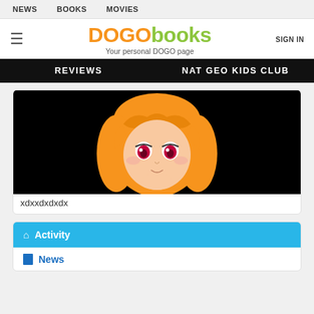NEWS   BOOKS   MOVIES
[Figure (logo): DOGObooks logo with tagline 'Your personal DOGO page']
REVIEWS   NAT GEO KIDS CLUB
[Figure (illustration): Anime-style girl character with orange hair and pink eyes on black background]
xdxxdxdxdx
Activity
News